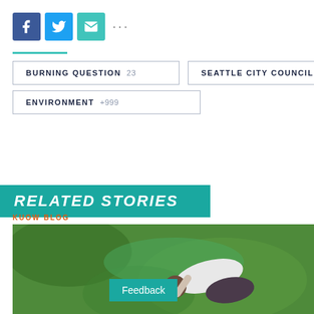[Figure (infographic): Social sharing icons: Facebook (blue), Twitter (light blue), Email (teal), and more (ellipsis dots)]
BURNING QUESTION 23
SEATTLE CITY COUNCIL 380
ENVIRONMENT +999
RELATED STORIES
KUOW BLOG
[Figure (photo): Person bending over green algae-covered water or grass, wearing white top and dark pants, viewed from above]
Feedback